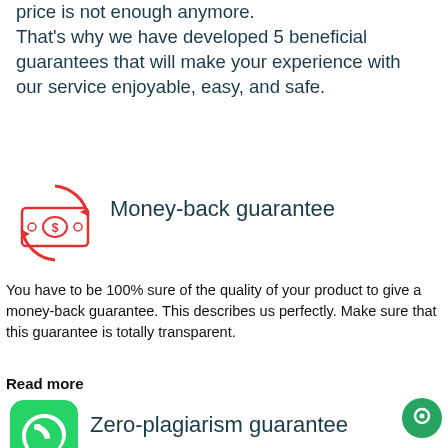price is not enough anymore. That’s why we have developed 5 beneficial guarantees that will make your experience with our service enjoyable, easy, and safe.
[Figure (illustration): Red circular arrows around a money/cash bill icon indicating money-back guarantee]
Money-back guarantee
You have to be 100% sure of the quality of your product to give a money-back guarantee. This describes us perfectly. Make sure that this guarantee is totally transparent.
Read more
[Figure (illustration): WhatsApp green rounded square icon with phone handset]
Zero-plagiarism guarantee
[Figure (illustration): Green circular chat bubble icon in bottom right corner]